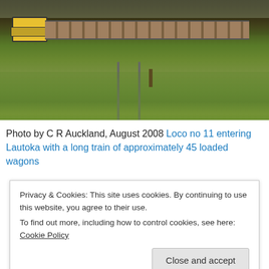[Figure (photo): A railway track through a grassy area with trees, a locomotive (Loco no 11) pulling a long train of loaded wagons entering Lautoka, August 2008.]
Photo by C R Auckland, August 2008 Loco no 11 entering Lautoka with a long train of approximately 45 loaded wagons
Privacy & Cookies: This site uses cookies. By continuing to use this website, you agree to their use.
To find out more, including how to control cookies, see here: Cookie Policy
Close and accept